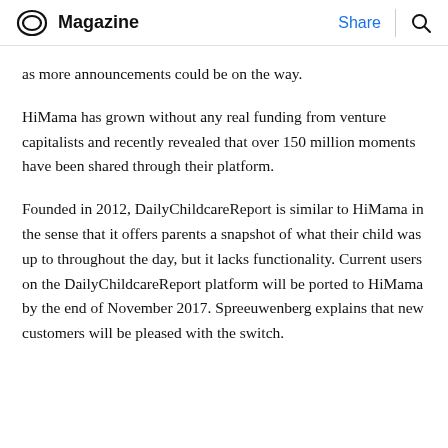Magazine | Share
as more announcements could be on the way.
HiMama has grown without any real funding from venture capitalists and recently revealed that over 150 million moments have been shared through their platform.
Founded in 2012, DailyChildcareReport is similar to HiMama in the sense that it offers parents a snapshot of what their child was up to throughout the day, but it lacks functionality. Current users on the DailyChildcareReport platform will be ported to HiMama by the end of November 2017. Spreeuwenberg explains that new customers will be pleased with the switch.